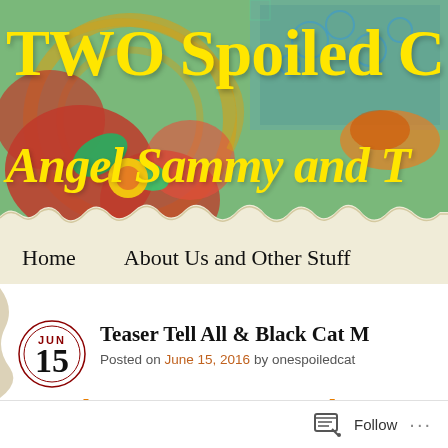[Figure (illustration): Colorful decorative blog header banner with floral and botanical patterns in red, green, yellow, blue and orange. Features swirling flowers, leaves, and a bird on a patterned background.]
TWO Spoiled C
Angel Sammy and T
Home    About Us and Other Stuff
JUN 15
Teaser Tell All & Black Cat M
Posted on June 15, 2016 by onespoiledcat
Class Is In Sessio
Follow ...